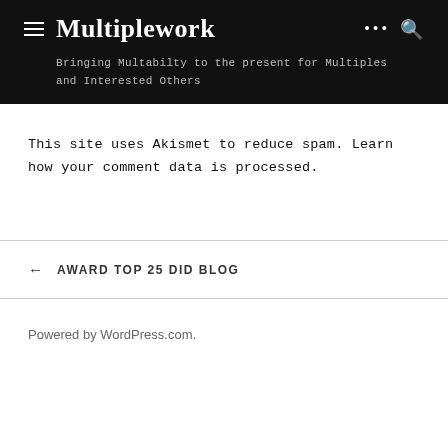Multiplework
Bringing Multabilty to the present for Multiples and Interested Others
This site uses Akismet to reduce spam. Learn how your comment data is processed.
← AWARD TOP 25 DID BLOG
Powered by WordPress.com.